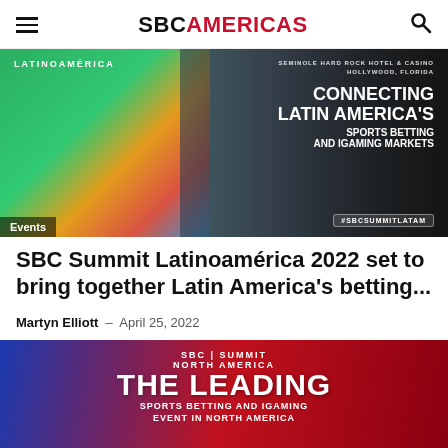SBC AMERICAS
[Figure (photo): SBC Summit Latinoamérica 2022 promotional banner. Shows a soccer player in green suit kicking a ball, casino chips, and a hotel building at dusk. Text reads: LATINOAMÉRICA / SEMINOLE HARD ROCK HOTEL & CASINO HOLLYWOOD, FLORIDA / CONNECTING LATIN AMERICA'S SPORTS BETTING AND IGAMING MARKETS / #SBCSUMMITLATAM. Category tag: Events.]
SBC Summit Latinoamérica 2022 set to bring together Latin America's betting...
Martyn Elliott  -  April 25, 2022
[Figure (photo): SBC Summit North America promotional banner. Blue and red background with white and pink text: SBC SUMMIT NORTH AMERICA / THE LEADING / SPORTS BETTING AND IGAMING EVENT IN NORTH AMERICA.]